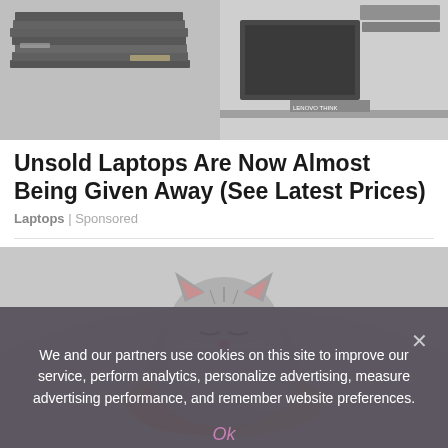[Figure (photo): Stacked laptops on shelves in a warehouse or storage area, gray and dark tones]
Unsold Laptops Are Now Almost Being Given Away (See Latest Prices)
Laptops | Sponsored
[Figure (photo): A tiny gray fluffy kitten sleeping in a person's hand, being cradled gently]
We and our partners use cookies on this site to improve our service, perform analytics, personalize advertising, measure advertising performance, and remember website preferences.
Ok